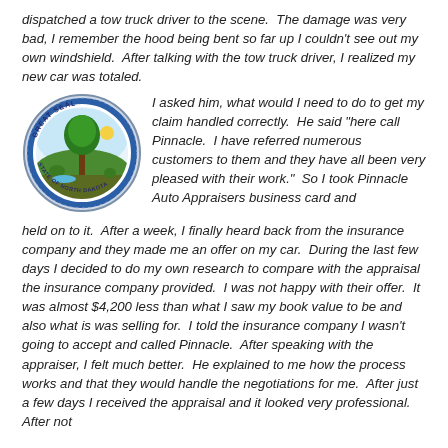dispatched a tow truck driver to the scene.  The damage was very bad, I remember the hood being bent so far up I couldn't see out my own windshield.  After talking with the tow truck driver, I realized my new car was totaled.
[Figure (illustration): Circular seal of the State of North Dakota featuring a tree, landscape, and text around the border reading 'GREAT SEAL' and 'STATE OF NORTH DAKOTA']
I asked him, what would I need to do to get my claim handled correctly.  He said "here call Pinnacle.  I have referred numerous customers to them and they have all been very pleased with their work."  So I took Pinnacle Auto Appraisers business card and held on to it.  After a week, I finally heard back from the insurance company and they made me an offer on my car.  During the last few days I decided to do my own research to compare with the appraisal the insurance company provided.  I was not happy with their offer.  It was almost $4,200 less than what I saw my book value to be and also what is was selling for.  I told the insurance company I wasn't going to accept and called Pinnacle.  After speaking with the appraiser, I felt much better.  He explained to me how the process works and that they would handle the negotiations for me.  After just a few days I received the appraisal and it looked very professional.  After not